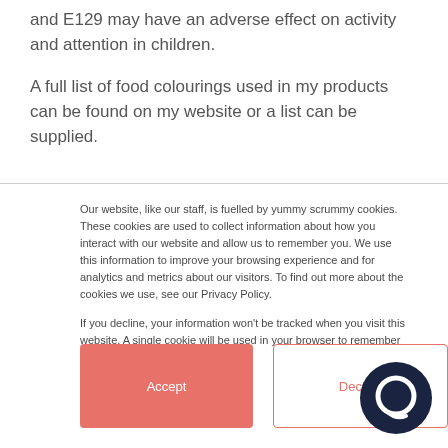and E129 may have an adverse effect on activity and attention in children.
A full list of food colourings used in my products can be found on my website or a list can be supplied.
Our website, like our staff, is fuelled by yummy scrummy cookies. These cookies are used to collect information about how you interact with our website and allow us to remember you. We use this information to improve your browsing experience and for analytics and metrics about our visitors. To find out more about the cookies we use, see our Privacy Policy.
If you decline, your information won't be tracked when you visit this website. A single cookie will be used in your browser to remember your preference not to be tracked.
[Figure (other): Accept button (salmon/red background with white text) and Decline button (white background with salmon/red border and text), plus a dark navy circular chat icon in the bottom right corner.]